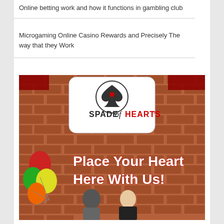Online betting work and how it functions in gambling club
Microgaming Online Casino Rewards and Precisely The way that they Work
[Figure (illustration): Spade of Hearts promotional advertisement showing a couple standing in front of a brick wall with colorful balloons, logo of Spade of Hearts in a rounded rectangle at top, and bold red text reading 'Place Your Heart Here With Us!']